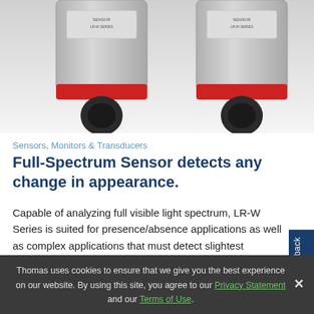[Figure (photo): Two industrial sensors (LR-W Series full-spectrum photoelectric sensors) shown from above, with metal bodies, red rings, and black connector caps, against a white/gray background.]
Sensors, Monitors & Transducers
Full-Spectrum Sensor detects any change in appearance.
Capable of analyzing full visible light spectrum, LR-W Series is suited for presence/absence applications as well as complex applications that must detect slightest differences in shade of color. Photoelectric sensor features 500 mm range and adjustable beam spot to ensure stable detection. Housed in IP65/IP67 rated enclosure, unit can be mounted wherever needed and can be calibrated with...
Thomas uses cookies to ensure that we give you the best experience on our website. By using this site, you agree to our Privacy Statement and our Terms of Use.